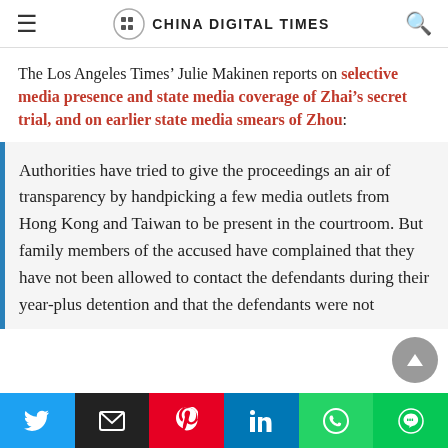CHINA DIGITAL TIMES
The Los Angeles Times’ Julie Makinen reports on selective media presence and state media coverage of Zhai’s secret trial, and on earlier state media smears of Zhou:
Authorities have tried to give the proceedings an air of transparency by handpicking a few media outlets from Hong Kong and Taiwan to be present in the courtroom. But family members of the accused have complained that they have not been allowed to contact the defendants during their year-plus detention and that the defendants were not